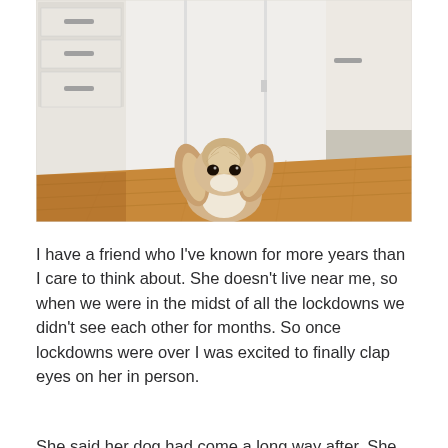[Figure (photo): A small fluffy Cavalier King Charles Spaniel dog with brown and white fur sits on a wooden floor, looking up at the camera. Behind the dog are white kitchen cabinets and a white door. The room has warm honey-coloured hardwood floors.]
I have a friend who I've known for more years than I care to think about. She doesn't live near me, so when we were in the midst of all the lockdowns we didn't see each other for months. So once lockdowns were over I was excited to finally clap eyes on her in person.
She said her dog had come a long way after. She called...